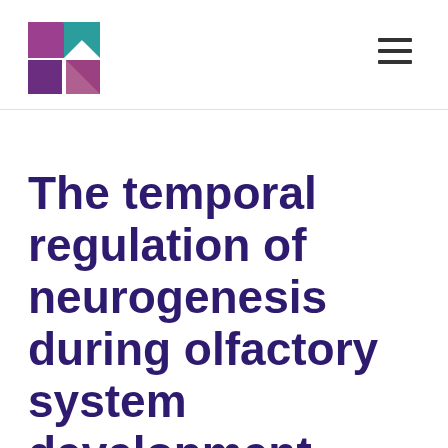[Logo and navigation menu]
The temporal regulation of neurogenesis during olfactory system development